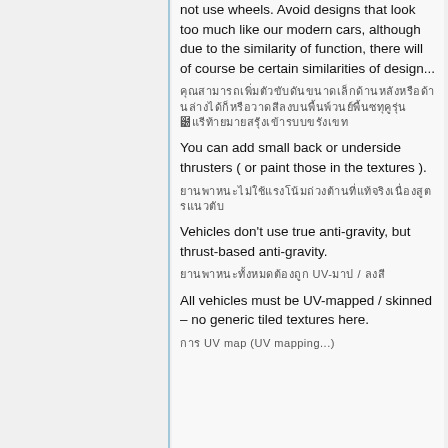not use wheels. Avoid designs that look too much like our modern cars, although due to the similarity of function, there will of course be certain similarities of design...
คุณสามารถเพิ่มตัวขับดันขนาดเล็กด้านหลังหรือด้านล่างได้ (หรือวาดสีลงบนพื้นผิว)
You can add small back or underside thrusters ( or paint those in the textures ).
ยานพาหนะไม่ใช้แรงโน้มถ่วงต้านที่แท้จริง แต่ใช้แรงโน้มถ่วงต้านแบบแรงขับเคลื่อน
Vehicles don't use true anti-gravity, but thrust-based anti-gravity.
ยานพาหนะทั้งหมดต้องถูก UV-map / ลงสี
All vehicles must be UV-mapped / skinned – no generic tiled textures here.
การ UV map (UV mapping...)